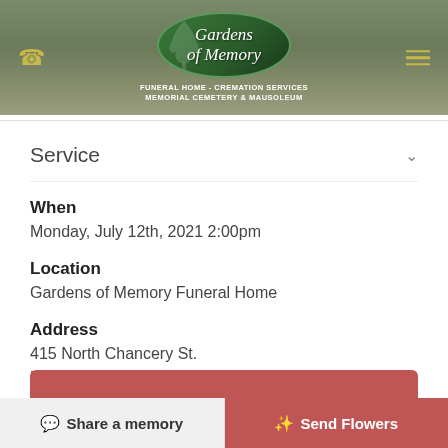[Figure (logo): Gardens of Memory funeral home logo - green oval with tree and italic white script text, subtitle reads FUNERAL HOME - CREMATION SERVICES / MEMORIAL CEMETERY & MAUSOLEUM]
Service
When
Monday, July 12th, 2021 2:00pm
Location
Gardens of Memory Funeral Home
Address
415 North Chancery St.
McMinnville, TN
Get Directions: View Map | Text | Email
Share a memory
Send Flowers